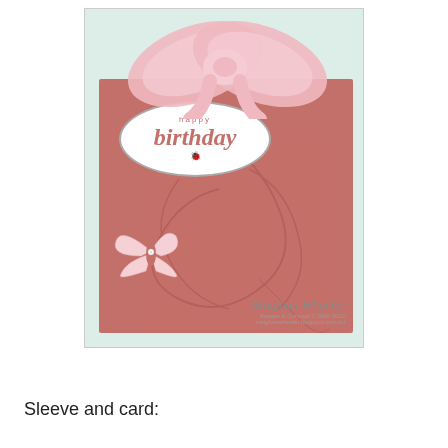[Figure (photo): A handmade birthday card with a mauve/dusty rose sleeve featuring a pink satin ribbon bow at top, an oval label with 'happy birthday' text, a white butterfly embellishment with a rhinestone center, and embossed floral swirl pattern in the background. Watermark reads 'Meighan Wheeler' with website meighanwheeler.blogspot.com.au]
Sleeve and card: